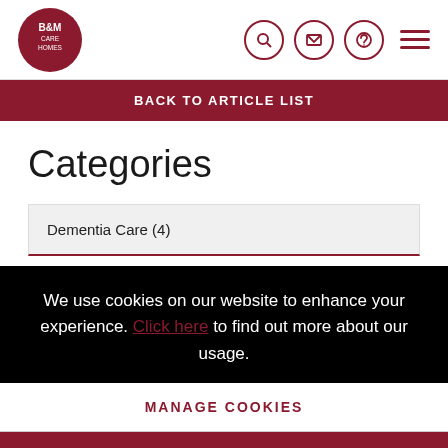[Figure (logo): B&M Care Homes circular logo in dark red/maroon]
BACK TO ARTICLE LIST
Categories
Dementia Care (4)
We use cookies on our website to enhance your experience. Click here to find out more about our usage.
MANAGE COOKIES
ACCEPT ALL